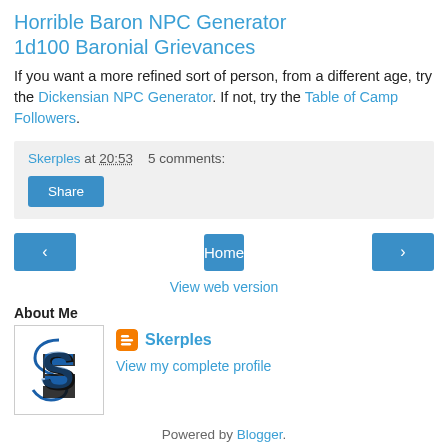Horrible Baron NPC Generator
1d100 Baronial Grievances
If you want a more refined sort of person, from a different age, try the Dickensian NPC Generator. If not, try the Table of Camp Followers.
Skerples at 20:53   5 comments:
Share
‹   Home   ›
View web version
About Me
[Figure (logo): Profile image with a stylized 'S' logo in black and blue on white background]
Skerples
View my complete profile
Powered by Blogger.